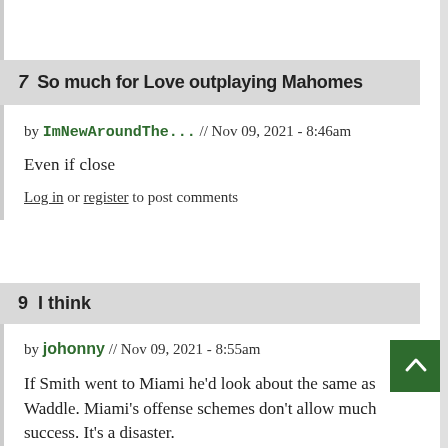7  So much for Love outplaying Mahomes
by ImNewAroundThe... // Nov 09, 2021 - 8:46am
Even if close
Log in or register to post comments
9  I think
by johonny // Nov 09, 2021 - 8:55am
If Smith went to Miami he'd look about the same as Waddle. Miami's offense schemes don't allow much success. It's a disaster.